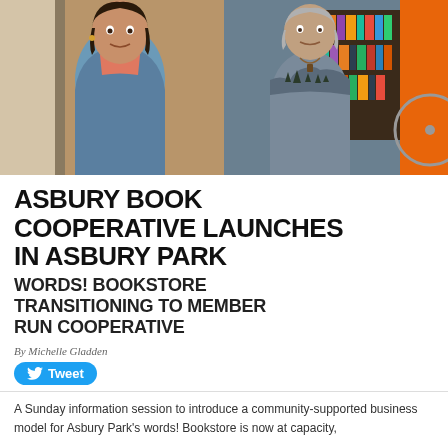[Figure (photo): Two women standing near a bookstore entrance. Left: younger woman in denim jacket and pink top. Right: older woman in grey nature-themed hoodie near bookshelves and orange wall.]
ASBURY BOOK COOPERATIVE LAUNCHES IN ASBURY PARK
WORDS! BOOKSTORE TRANSITIONING TO MEMBER RUN COOPERATIVE
By Michelle Gladden
Tweet
A Sunday information session to introduce a community-supported business model for Asbury Park's words! Bookstore is now at capacity,